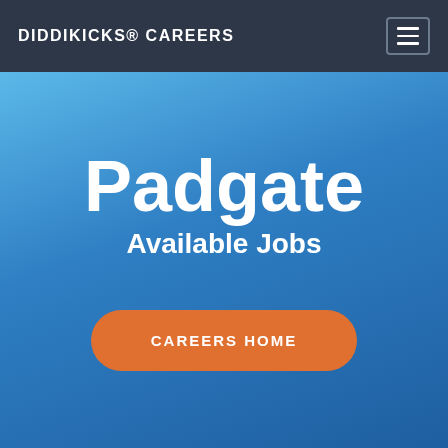DIDDIKICKS® CAREERS
Padgate
Available Jobs
CAREERS HOME